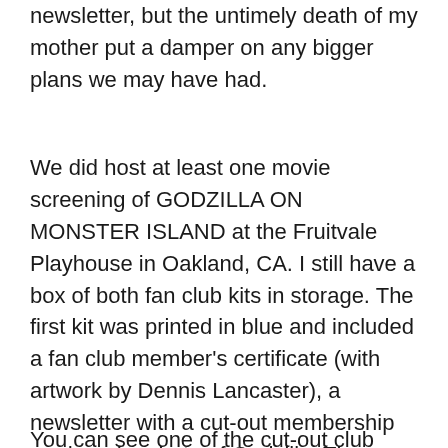newsletter, but the untimely death of my mother put a damper on any bigger plans we may have had.
We did host at least one movie screening of GODZILLA ON MONSTER ISLAND at the Fruitvale Playhouse in Oakland, CA. I still have a box of both fan club kits in storage. The first kit was printed in blue and included a fan club member's certificate (with artwork by Dennis Lancaster), a newsletter with a cut-out membership card, and a photo of Godzilla. The second wave included a new certificate (with all new artwork by Lancaster), a new newsletter and new cut-out membership card, and a new photo of Godzilla.
You can see one of the cut-out club cards of this